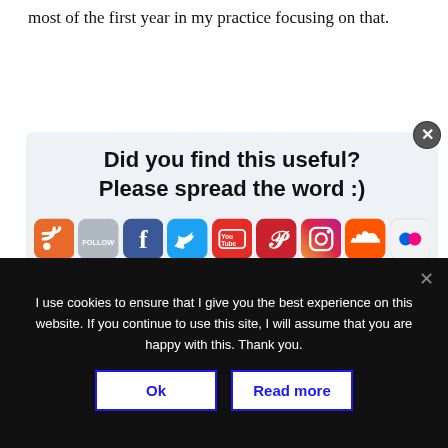most of the first year in my practice focusing on that.
[Figure (infographic): Social media sharing prompt box with title 'Did you find this useful? Please spread the word :)' and social media icons for RSS, Follow, Facebook, Twitter, YouTube, Pinterest, Instagram, SoundCloud, Flickr, and LinkedIn]
Right around then I happened to read a Wall Street Journal article about John Locke and how
I use cookies to ensure that I give you the best experience on this website. If you continue to use this site, I will assume that you are happy with this. Thank you.